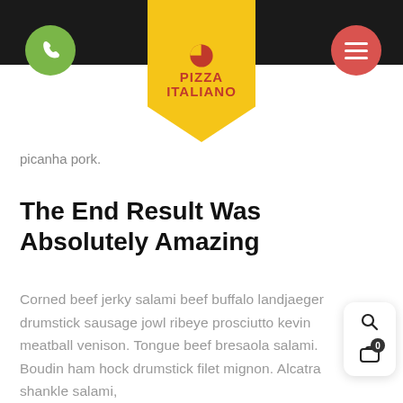[Figure (logo): Pizza Italiano logo on yellow pentagon badge with pizza slice icon]
picanha pork.
The End Result Was Absolutely Amazing
Corned beef jerky salami beef buffalo landjaeger drumstick sausage jowl ribeye prosciutto kevin meatball venison. Tongue beef bresaola salami. Boudin ham hock drumstick filet mignon. Alcatra shankle salami,